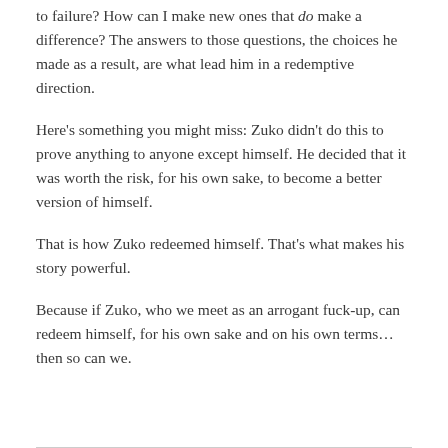to failure? How can I make new ones that do make a difference? The answers to those questions, the choices he made as a result, are what lead him in a redemptive direction.
Here's something you might miss: Zuko didn't do this to prove anything to anyone except himself. He decided that it was worth the risk, for his own sake, to become a better version of himself.
That is how Zuko redeemed himself. That's what makes his story powerful.
Because if Zuko, who we meet as an arrogant fuck-up, can redeem himself, for his own sake and on his own terms… then so can we.